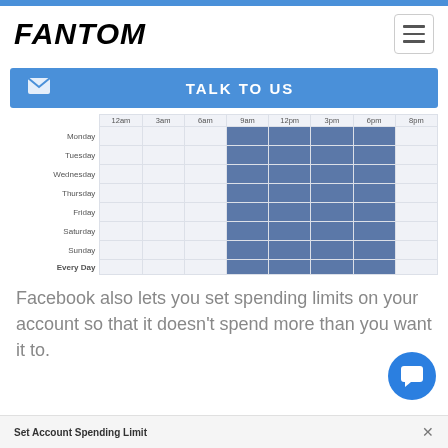FANTOM
TALK TO US
[Figure (table-as-image): Weekly schedule grid showing active hours (highlighted in blue) for Monday through Sunday and Every Day, with time columns from 12am to 8pm. Active period appears to be approximately 9am to 6pm each day.]
Facebook also lets you set spending limits on your account so that it doesn't spend more than you want it to.
Set Account Spending Limit